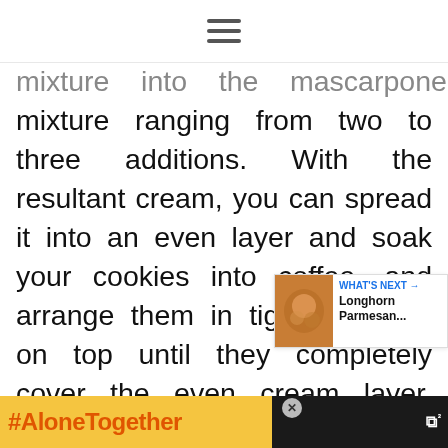≡
mixture into the mascarpone mixture ranging from two to three additions. With the resultant cream, you can spread it into an even layer and soak your cookies into coffee, and arrange them in tight positions on top until they completely cover the even cream layer. Spread the remaining cream over the for the best sight. You should re...h...rs
[Figure (other): Share icon button (circular button with share symbol)]
[Figure (other): What's Next promotional box showing Longhorn Parmesan... with food image]
[Figure (other): Advertisement bar with #AloneTogether text in orange on yellow background, and a dark right panel with woman image and CNN logo text]